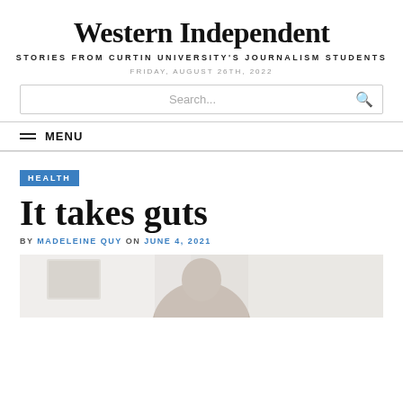Western Independent
STORIES FROM CURTIN UNIVERSITY'S JOURNALISM STUDENTS
FRIDAY, AUGUST 26TH, 2022
Search...
MENU
HEALTH
It takes guts
BY MADELEINE QUY ON JUNE 4, 2021
[Figure (photo): Photograph of a person, partially visible, taken indoors with a window visible in the background.]